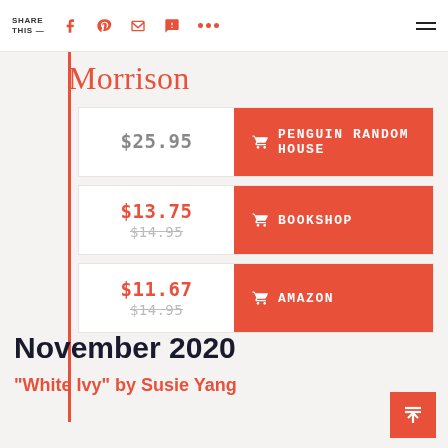SHARE THIS — [social share icons: Facebook, Pinterest, Email, Message, More, Menu]
Morrison
| Price | Retailer |
| --- | --- |
| $25.95 | PENGUIN RANDOM HOUSE |
| $13.75 / $14.95 | BOOKSHOP |
| $11.67 / $14.95 | AMAZON |
November 2020
"White Ivy" by Susie Yang